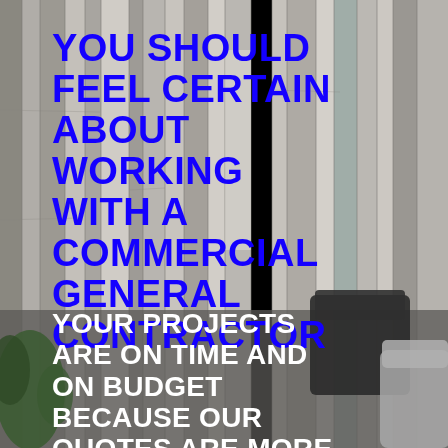[Figure (photo): Interior room with a wall made of reclaimed/weathered pale gray wooden planks arranged vertically, a dark charcoal/black chair visible in the center-right, a light gray armchair partially visible at far right, and a green plant partially visible at the lower left.]
YOU SHOULD FEEL CERTAIN ABOUT WORKING WITH A COMMERCIAL GENERAL CONTRACTOR
YOUR PROJECTS ARE ON TIME AND ON BUDGET BECAUSE OUR QUOTES ARE MORE DETAILED AND